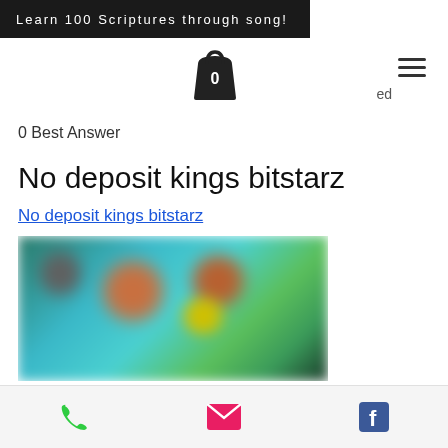Learn 100 Scriptures through song!
[Figure (screenshot): Shopping bag icon with a 0 badge, and a hamburger menu icon to the right. Partial text 'ed' visible top right.]
0 Best Answer
No deposit kings bitstarz
No deposit kings bitstarz
[Figure (photo): A blurred/pixelated image showing colorful game or media content with character figures on a teal/green background.]
Phone, Email, and Facebook contact icons